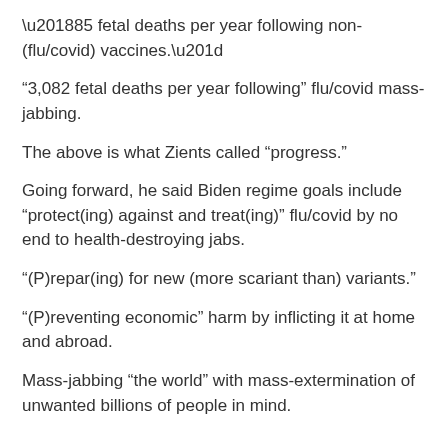‘85 fetal deaths per year following non-(flu/covid) vaccines.”
‘3,082 fetal deaths per year following” flu/covid mass-jabbing.
The above is what Zients called “progress.”
Going forward, he said Biden regime goals include “protect(ing) against and treat(ing)” flu/covid by no end to health-destroying jabs.
“(P)repar(ing) for new (more scariant than) variants.”
“(P)reventing economic” harm by inflicting it at home and abroad.
Mass-jabbing “the world” with mass-extermination of unwanted billions of people in mind.